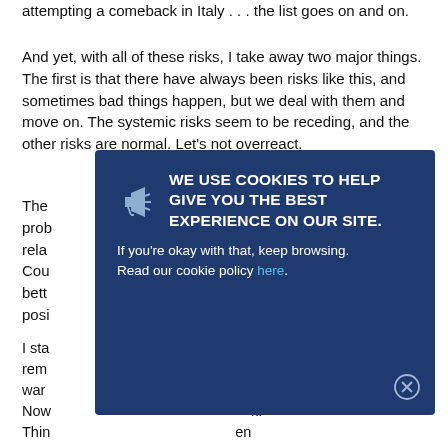attempting a comeback in Italy . . . the list goes on and on.
And yet, with all of these risks, I take away two major things. The first is that there have always been risks like this, and sometimes bad things happen, but we deal with them and move on. The systemic risks seem to be receding, and the other risks are normal. Let's not overreact.
The [partially obscured] prob[lem] rela[ted] Cou[ntry] g bett[er] posi[tion]
[Figure (other): Cookie consent overlay banner with dark navy background. Contains megaphone/announcement icon on the left, bold white uppercase text reading 'WE USE COOKIES TO HELP GIVE YOU THE BEST EXPERIENCE ON OUR SITE.' followed by smaller text 'If you’re okay with that, keep browsing. Read our cookie policy here.' with a close button (X in circle) at bottom right.]
I sta[rted] rem[embering] war[ ] Now[ ] k. Thin[ ] en as O[ ] military. Even with all our worries, we are in a much better place than we have been. Worth remembering.